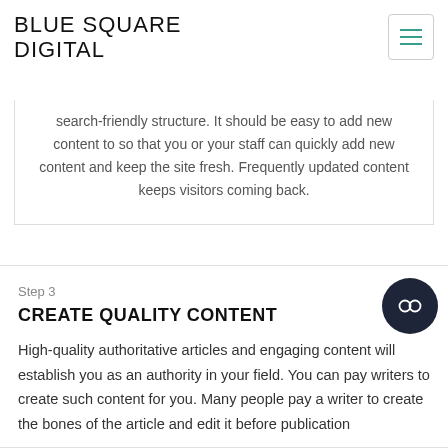BLUE SQUARE DIGITAL
search-friendly structure. It should be easy to add new content to so that you or your staff can quickly add new content and keep the site fresh. Frequently updated content keeps visitors coming back.
Step 3
CREATE QUALITY CONTENT
High-quality authoritative articles and engaging content will establish you as an authority in your field. You can pay writers to create such content for you. Many people pay a writer to create the bones of the article and edit it before publication